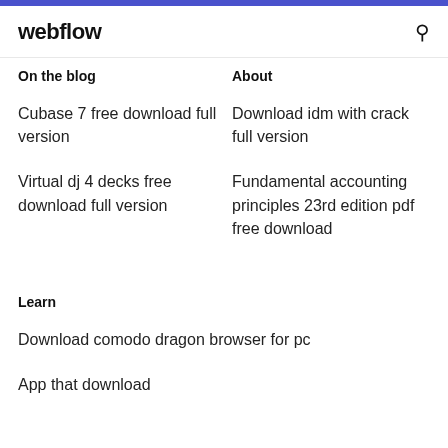webflow
On the blog
About
Cubase 7 free download full version
Download idm with crack full version
Virtual dj 4 decks free download full version
Fundamental accounting principles 23rd edition pdf free download
Learn
Download comodo dragon browser for pc
App that download